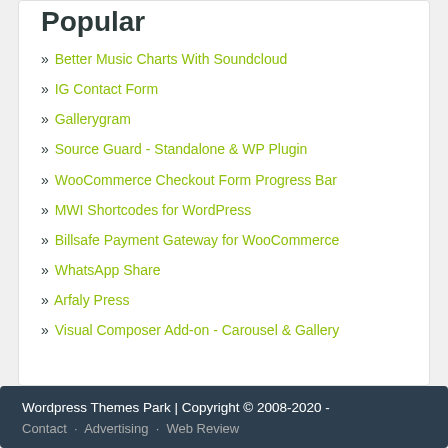Popular
» Better Music Charts With Soundcloud
» IG Contact Form
» Gallerygram
» Source Guard - Standalone & WP Plugin
» WooCommerce Checkout Form Progress Bar
» MWI Shortcodes for WordPress
» Billsafe Payment Gateway for WooCommerce
» WhatsApp Share
» Arfaly Press
» Visual Composer Add-on - Carousel & Gallery
Wordpress Themes Park | Copyright © 2008-2020 -